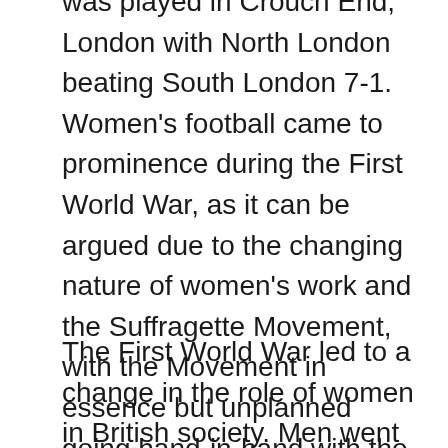was played in Crouch End, London with North London beating South London 7-1. Women's football came to prominence during the First World War, as it can be argued due to the changing nature of women's work and the Suffragette Movement, with the Movement in essence but unplanned going hand-in-hand with the growth in Women's football.
The First World War led to a change in the role of women in British society. Men went off to fight and women took on traditionally male roles as they worked in industrial occupations, particularly the